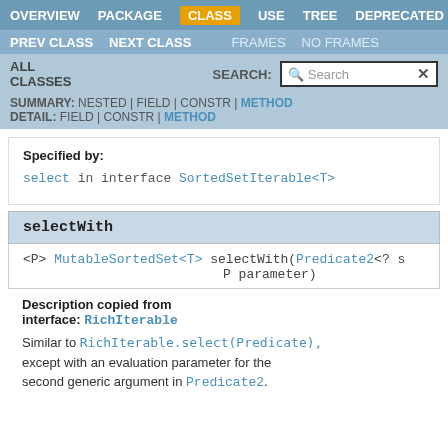OVERVIEW  PACKAGE  CLASS  USE  TREE  DEPRECATED
PREV CLASS  NEXT CLASS  FRAMES  NO FRAMES
ALL CLASSES  SEARCH:  [Search]
SUMMARY: NESTED | FIELD | CONSTR | METHOD  DETAIL: FIELD | CONSTR | METHOD
Specified by:
select in interface SortedSetIterable<T>
selectWith
<P> MutableSortedSet<T> selectWith(Predicate2<? s  P parameter)
Description copied from interface: RichIterable
Similar to RichIterable.select(Predicate), except with an evaluation parameter for the second generic argument in Predicate2.